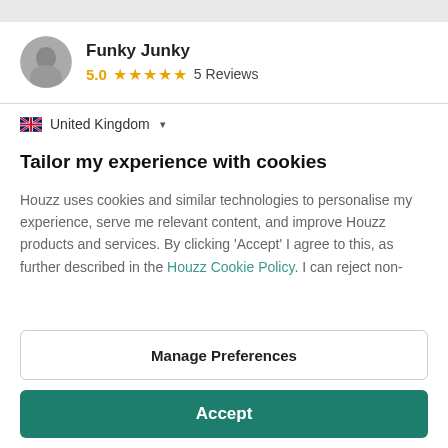[Figure (photo): Gray top bar at top of page]
[Figure (photo): Circular avatar profile photo of a person in black and white]
Funky Junky
5.0 ★★★★★ 5 Reviews
🇬🇧 United Kingdom ▾
Tailor my experience with cookies
Houzz uses cookies and similar technologies to personalise my experience, serve me relevant content, and improve Houzz products and services. By clicking 'Accept' I agree to this, as further described in the Houzz Cookie Policy. I can reject non-
Manage Preferences
Accept